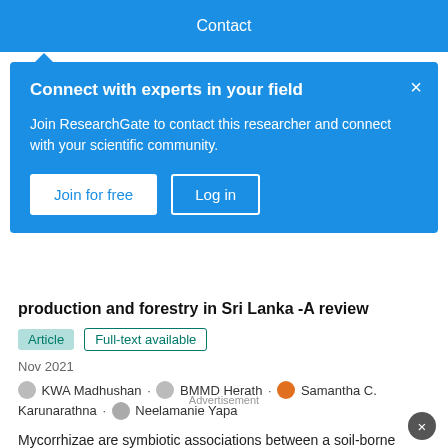Contact
Connect with experts in your field
Join ResearchGate to contact this researcher and connect with your scientific community.
Join for free   Log in
production and forestry in Sri Lanka -A review
Article   Full-text available
Nov 2021
KWA Madhushan · BMMD Herath · Samantha C. Karunarathna · Neelamanie Yapa
Mycorrhizae are symbiotic associations between a soil-borne fungus and plant root. Arbuscular mycorrhizal fungi (AMF) are the most common type of mycorrhizal associations occurring in plants. AMF can increase plant growth mainly by improving nutrient uptake and making plants resistant to several biotic and